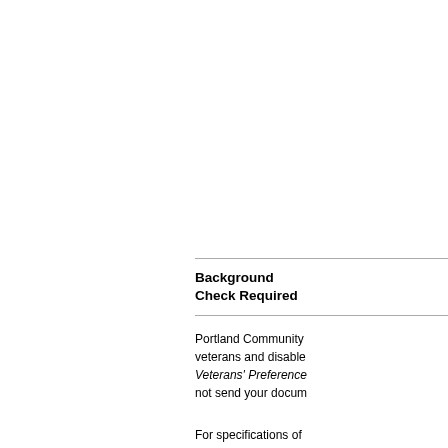Background Check Required
Portland Community veterans and disabled Veterans' Preference not send your docum
For specifications of